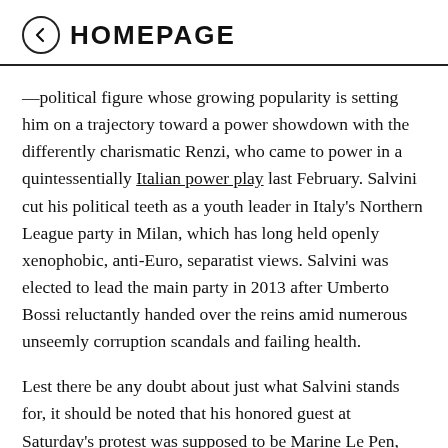← HOMEPAGE
—political figure whose growing popularity is setting him on a trajectory toward a power showdown with the differently charismatic Renzi, who came to power in a quintessentially Italian power play last February. Salvini cut his political teeth as a youth leader in Italy's Northern League party in Milan, which has long held openly xenophobic, anti-Euro, separatist views. Salvini was elected to lead the main party in 2013 after Umberto Bossi reluctantly handed over the reins amid numerous unseemly corruption scandals and failing health.
Lest there be any doubt about just what Salvini stands for, it should be noted that his honored guest at Saturday's protest was supposed to be Marine Le Pen, head of France's National Front who had invited him to address